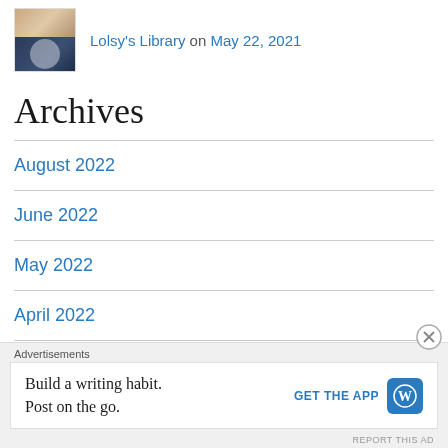Lolsy's Library on May 22, 2021
Archives
August 2022
June 2022
May 2022
April 2022
March 2022
Advertisements
Build a writing habit. Post on the go. GET THE APP